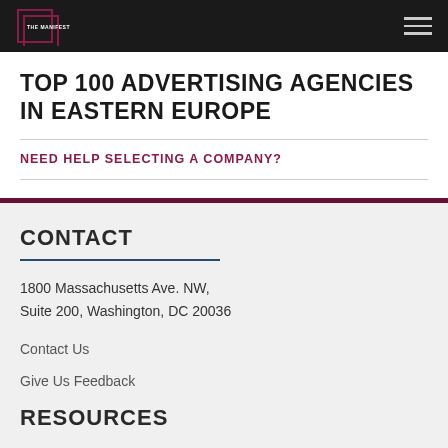THE MANIFEST
TOP 100 ADVERTISING AGENCIES IN EASTERN EUROPE
NEED HELP SELECTING A COMPANY?
CONTACT
1800 Massachusetts Ave. NW, Suite 200, Washington, DC 20036
Contact Us
Give Us Feedback
RESOURCES